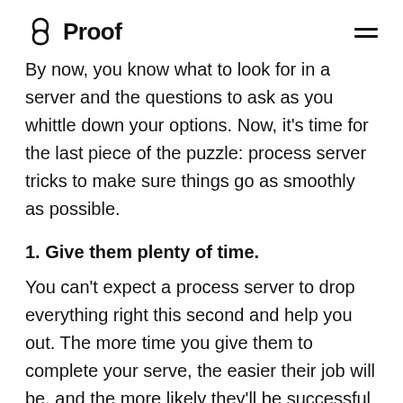Proof
By now, you know what to look for in a server and the questions to ask as you whittle down your options. Now, it’s time for the last piece of the puzzle: process server tricks to make sure things go as smoothly as possible.
1. Give them plenty of time.
You can’t expect a process server to drop everything right this second and help you out. The more time you give them to complete your serve, the easier their job will be, and the more likely they’ll be successful at serving